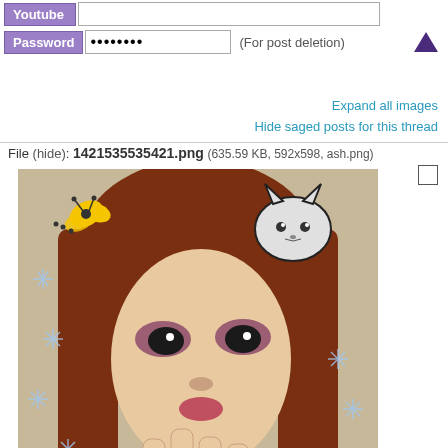Youtube [input field]
Password ••••••••  (For post deletion) [triangle up button]
Expand all images
Hide saged posts for this thread
File (hide): 1421535535421.png (635.59 KB, 592x598, ash.png)
[Figure (photo): A person with reddish-brown hair making a duck face gesture with their hand under their chin, with decorative sparkles and cartoon cat/butterfly stickers overlaid on the photo.]